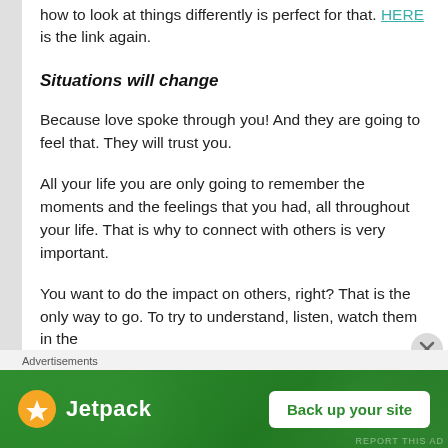how to look at things differently is perfect for that. HERE is the link again.
Situations will change
Because love spoke through you! And they are going to feel that. They will trust you.
All your life you are only going to remember the moments and the feelings that you had, all throughout your life. That is why to connect with others is very important.
You want to do the impact on others, right? That is the only way to go. To try to understand, listen, watch them in the
Advertisements
[Figure (other): Jetpack advertisement banner with green background, Jetpack logo on the left, and 'Back up your site' button on the right.]